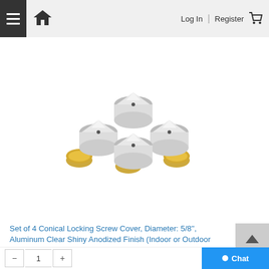Log In | Register
[Figure (photo): Set of 4 conical locking screw covers with aluminum clear shiny anodized finish, showing 3 silver cone-shaped covers and 3 gold-colored base caps arranged in a group on white background]
Set of 4 Conical Locking Screw Cover, Diameter: 5/8'', Aluminum Clear Shiny Anodized Finish (Indoor or Outdoor Use)
Price: $7.11
SC16CLAS